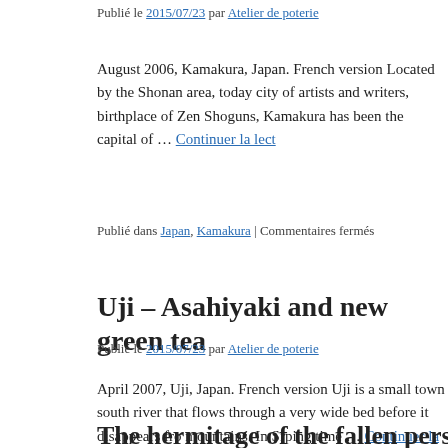Publié le 2015/07/23 par Atelier de poterie
August 2006, Kamakura, Japan. French version Located by the Shonan area, today city of artists and writers, birthplace of Zen Shoguns, Kamakura has been the capital of … Continuer la lecture
Publié dans Japan, Kamakura | Commentaires fermés
Uji – Asahiyaki and new green tea
Publié le 2015/07/23 par Atelier de poterie
April 2007, Uji, Japan. French version Uji is a small town south river that flows through a very wide bed before it disappears from mountains. In Srping time … Continuer la lecture →
Publié dans Japan, Uji | Commentaires fermés
The hermitage of the fallen persimmons
Publié le 2015/07/23 par Atelier de poterie